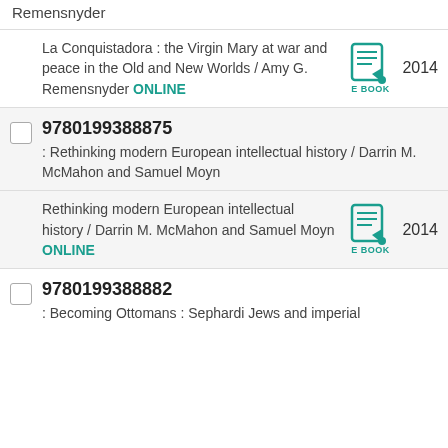Remensnyder
La Conquistadora : the Virgin Mary at war and peace in the Old and New Worlds / Amy G. Remensnyder ONLINE — E BOOK 2014
9780199388875 : Rethinking modern European intellectual history / Darrin M. McMahon and Samuel Moyn
Rethinking modern European intellectual history / Darrin M. McMahon and Samuel Moyn ONLINE — E BOOK 2014
9780199388882 : Becoming Ottomans : Sephardi Jews and imperial